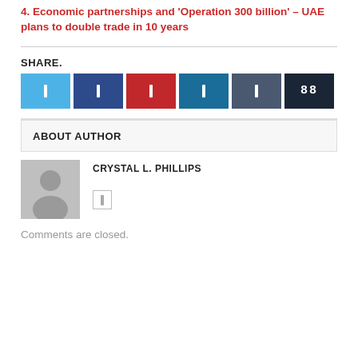4. Economic partnerships and 'Operation 300 billion' – UAE plans to double trade in 10 years
SHARE.
[Figure (infographic): Row of 6 social media share buttons: Twitter (light blue), Facebook (dark blue), Pinterest (red), LinkedIn (teal), Tumblr (slate), and a counter showing 88 (dark navy)]
ABOUT AUTHOR
[Figure (photo): Grey placeholder avatar silhouette image of a person]
CRYSTAL L. PHILLIPS
Comments are closed.